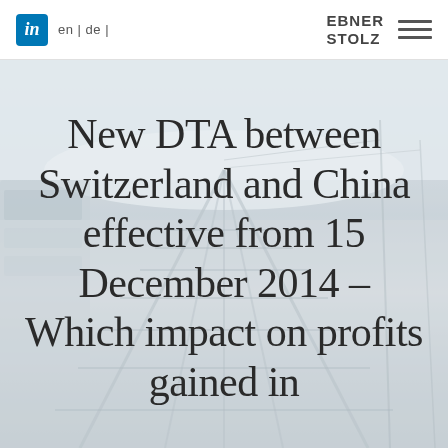in en | de | EBNER STOLZ ☰
[Figure (photo): Background photo of railway tracks and trains viewed from an elevated perspective, with a misty/foggy atmosphere. The image is desaturated and light in tone.]
New DTA between Switzerland and China effective from 15 December 2014 – Which impact on profits gained in